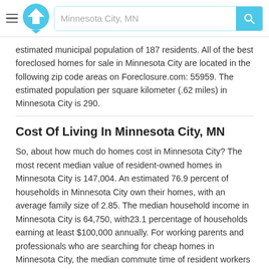Minnesota City, MN
estimated municipal population of 187 residents. All of the best foreclosed homes for sale in Minnesota City are located in the following zip code areas on Foreclosure.com: 55959. The estimated population per square kilometer (.62 miles) in Minnesota City is 290.
Cost Of Living In Minnesota City, MN
So, about how much do homes cost in Minnesota City? The most recent median value of resident-owned homes in Minnesota City is 147,004. An estimated 76.9 percent of households in Minnesota City own their homes, with an average family size of 2.85. The median household income in Minnesota City is 64,750, with23.1 percentage of households earning at least $100,000 annually. For working parents and professionals who are searching for cheap homes in Minnesota City, the median commute time of resident workers (in minutes) is 17.2. And last, but certainly not least, are you looking for homes to rent in Minnesota City? If so, the average rent price paid by